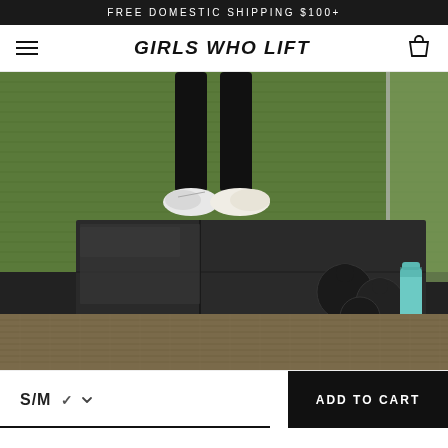FREE DOMESTIC SHIPPING $100+
GIRLS WHO LIFT
[Figure (photo): A person wearing black leggings and white sneakers standing on a dark folding gym mat on green artificial turf. Kettlebells and a teal water bottle are visible to the right. The floor below is brown carpet, visible through a mirror reflection.]
S/M
ADD TO CART